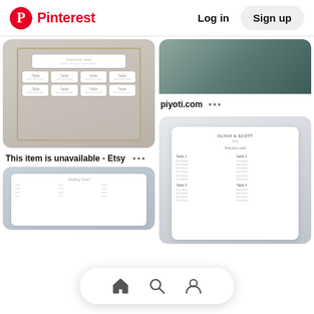Pinterest  Log in  Sign up
[Figure (photo): Wedding seating chart displayed in a wooden frame with white floral tags hung on strings with small wooden clothespins, gray background]
This item is unavailable - Etsy
[Figure (photo): Close up of a dark teal book or folder corner on a warm beige background, piyoti.com watermark]
piyoti.com
[Figure (photo): Eucalyptus-decorated wedding seating chart board leaning against a pale blue-gray wall with pink flowers at the base]
[Figure (photo): Partial view of a blue and white seating chart or wedding stationery item, partially cropped at bottom left]
[Figure (infographic): Bottom navigation bar with home, search, and profile icons on white pill-shaped background]